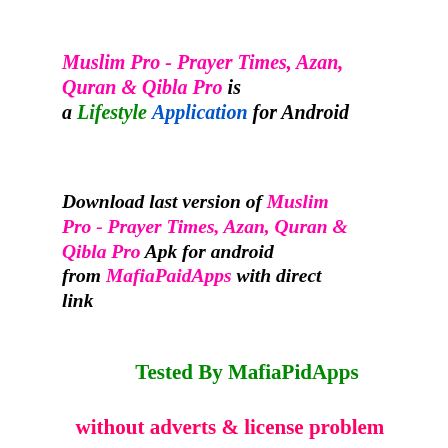Muslim Pro - Prayer Times, Azan, Quran & Qibla Pro is a Lifestyle Application for Android
Download last version of Muslim Pro - Prayer Times, Azan, Quran & Qibla Pro Apk for android from MafiaPaidApps with direct link
Tested By MafiaPidApps
without adverts & license problem